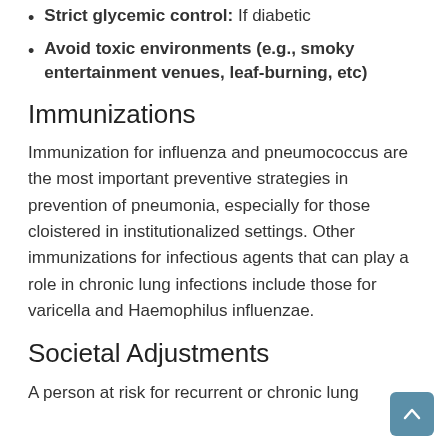Strict glycemic control: If diabetic
Avoid toxic environments (e.g., smoky entertainment venues, leaf-burning, etc)
Immunizations
Immunization for influenza and pneumococcus are the most important preventive strategies in prevention of pneumonia, especially for those cloistered in institutionalized settings. Other immunizations for infectious agents that can play a role in chronic lung infections include those for varicella and Haemophilus influenzae.
Societal Adjustments
A person at risk for recurrent or chronic lung